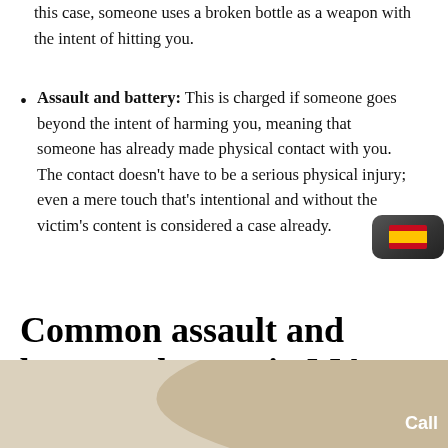this case, someone uses a broken bottle as a weapon with the intent of hitting you.
Assault and battery: This is charged if someone goes beyond the intent of harming you, meaning that someone has already made physical contact with you. The contact doesn't have to be a serious physical injury; even a mere touch that's intentional and without the victim's content is considered a case already.
Common assault and battery charges in MA